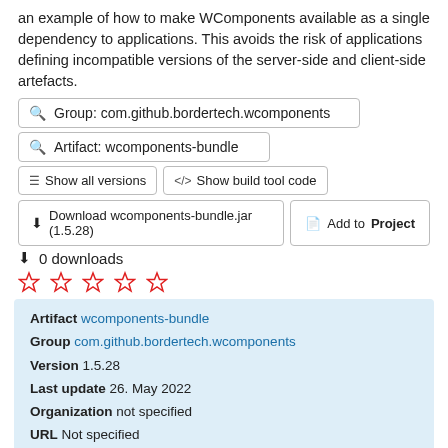an example of how to make WComponents available as a single dependency to applications. This avoids the risk of applications defining incompatible versions of the server-side and client-side artefacts.
🔍 Group: com.github.bordertech.wcomponents
🔍 Artifact: wcomponents-bundle
≡ Show all versions   </> Show build tool code
⬇ Download wcomponents-bundle.jar (1.5.28)   🗋 Add to Project
⬇ 0 downloads
[Figure (other): Five empty star rating icons in red outline]
| Field | Value |
| --- | --- |
| Artifact | wcomponents-bundle |
| Group | com.github.bordertech.wcomponents |
| Version | 1.5.28 |
| Last update | 26. May 2022 |
| Organization | not specified |
| URL | Not specified |
| License | not specified |
| Dependencies amount | 5 |
| Dependencies | wcomponents-core, wcomponents-theme |